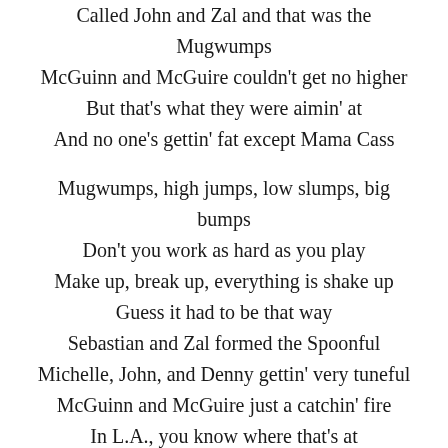Called John and Zal and that was the Mugwumps
McGuinn and McGuire couldn't get no higher
But that's what they were aimin' at
And no one's gettin' fat except Mama Cass

Mugwumps, high jumps, low slumps, big bumps
Don't you work as hard as you play
Make up, break up, everything is shake up
Guess it had to be that way
Sebastian and Zal formed the Spoonful
Michelle, John, and Denny gettin' very tuneful
McGuinn and McGuire just a catchin' fire
In L.A., you know where that's at
And everybody's gettin' fat except Mama Cass